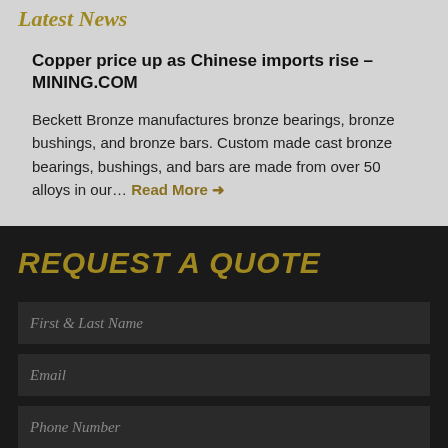Latest News
Copper price up as Chinese imports rise – MINING.COM
Beckett Bronze manufactures bronze bearings, bronze bushings, and bronze bars. Custom made cast bronze bearings, bushings, and bars are made from over 50 alloys in our… Read More →
REQUEST A QUOTE
First & Last Name
Email
Phone Number